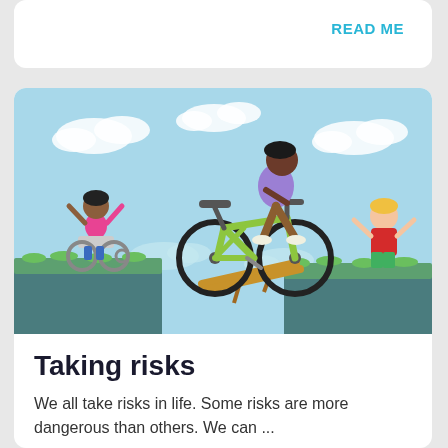READ ME
[Figure (illustration): Colorful cartoon illustration showing children taking risks: a child jumping a bicycle across a gap between two cliffs, a girl in a wheelchair waving on the left cliff, a boy with raised hands on the right cliff near a wooden ramp bridge, set against a light blue cloudy sky.]
Taking risks
We all take risks in life. Some risks are more dangerous than others. We can ...